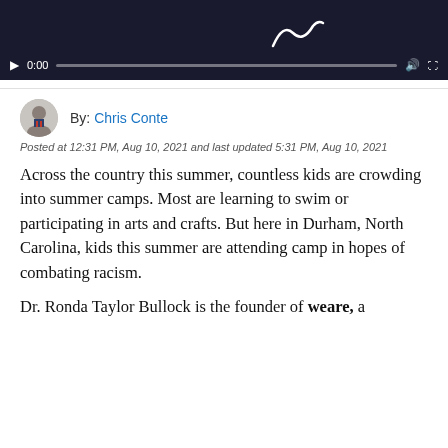[Figure (screenshot): Video player thumbnail showing dark background with a white squiggle/signature graphic and video controls showing time 0:00 at bottom]
By: Chris Conte
Posted at 12:31 PM, Aug 10, 2021 and last updated 5:31 PM, Aug 10, 2021
Across the country this summer, countless kids are crowding into summer camps. Most are learning to swim or participating in arts and crafts. But here in Durham, North Carolina, kids this summer are attending camp in hopes of combating racism.
Dr. Ronda Taylor Bullock is the founder of weare, a